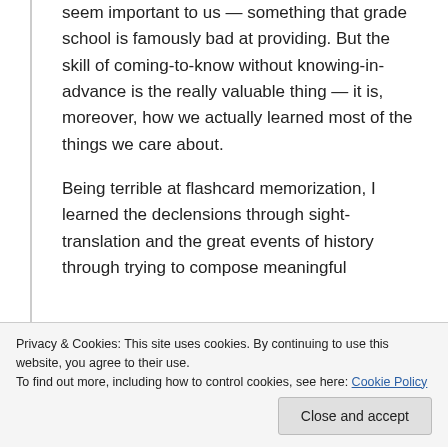seem important to us — something that grade school is famously bad at providing. But the skill of coming-to-know without knowing-in-advance is the really valuable thing — it is, moreover, how we actually learned most of the things we care about.

Being terrible at flashcard memorization, I learned the declensions through sight-translation and the great events of history through trying to compose meaningful
Privacy & Cookies: This site uses cookies. By continuing to use this website, you agree to their use.
To find out more, including how to control cookies, see here: Cookie Policy